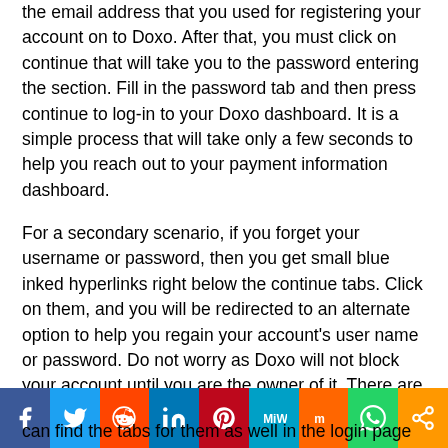the email address that you used for registering your account on to Doxo. After that, you must click on continue that will take you to the password entering the section. Fill in the password tab and then press continue to log-in to your Doxo dashboard. It is a simple process that will take only a few seconds to help you reach out to your payment information dashboard.
For a secondary scenario, if you forget your username or password, then you get small blue inked hyperlinks right below the continue tabs. Click on them, and you will be redirected to an alternate option to help you regain your account's user name or password. Do not worry as Doxo will not block your account until you are the owner of it. There are certain security measures to prevent any unauthorized access to the user's account. Therefore, in case you forget password or username, then there are certain procedures that will just take a couple of minutes
[Figure (infographic): Social media sharing bar with icons: Facebook, Twitter, Reddit, LinkedIn, Pinterest, MeWe, Mix, WhatsApp, Share]
can find the tabs for them as well in the login page of